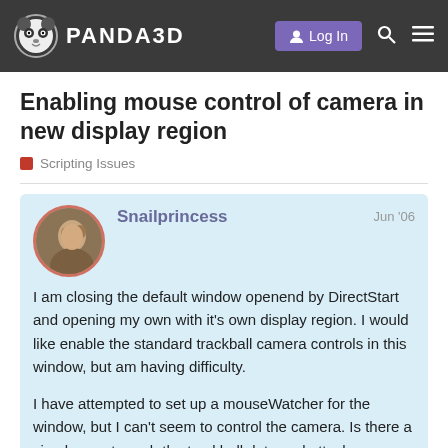PANDA3D — Log In
Enabling mouse control of camera in new display region
Scripting Issues
Snailprincess   Jun '06

I am closing the default window openend by DirectStart and opening my own with it's own display region. I would like enable the standard trackball camera controls in this window, but am having difficulty.

I have attempted to set up a mouseWatcher for the window, but I can't seem to control the camera. Is there a simple way to grab the trackball data and attach a costume camera to it?

The code I am using to open the window and set up